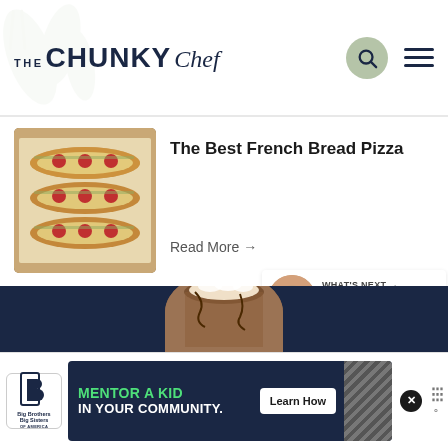THE CHUNKY Chef
[Figure (photo): French bread pizza on a baking tray]
The Best French Bread Pizza
Read More →
* Did you make this? Be sure to leave a review below and tag me @the_chunky_chef on Facebook and Instagram!
[Figure (photo): Drink thumbnail - what's next: Perfect Copycat...]
[Figure (photo): Bottom drink image partially visible]
[Figure (infographic): Big Brothers Big Sisters - Mentor a Kid in your community advertisement banner with Learn How button]